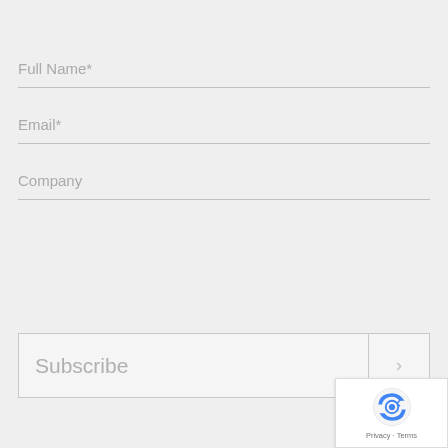Full Name*
Email*
Company
Subscribe
[Figure (logo): reCAPTCHA badge with Privacy and Terms links]